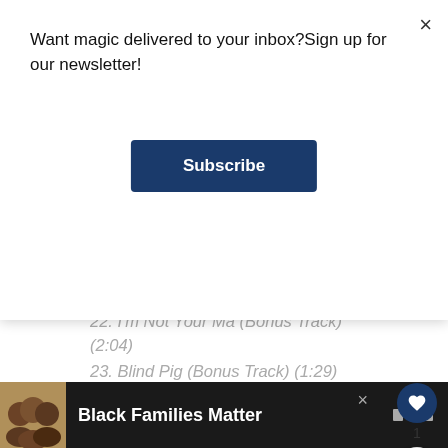Want magic delivered to your inbox?Sign up for our newsletter!
Subscribe
22. I'm Not Your Ma (Bonus Track) (2:04)
23. Blind Pig (Bonus Track) (1:29)
24. Newt Talks to Credence (Bonus Track) (2:13)
25. End Titles Pt.2 – Fantastic Beasts and Where to Find Them (Bonus Track) (1:22)
26. Kowalski Rag (Bonus Track) (5:12)
1
[Figure (screenshot): Bottom advertisement banner with photo of smiling family and text 'Black Families Matter' on dark background]
Black Families Matter